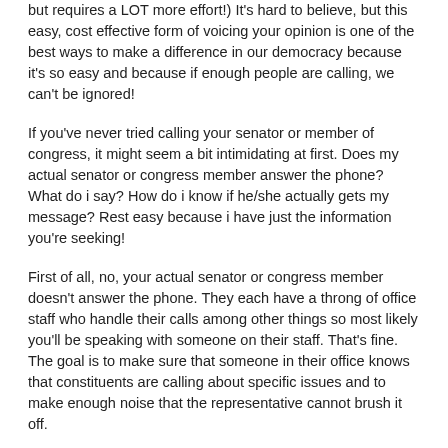but requires a LOT more effort!) It's hard to believe, but this easy, cost effective form of voicing your opinion is one of the best ways to make a difference in our democracy because it's so easy and because if enough people are calling, we can't be ignored!
If you've never tried calling your senator or member of congress, it might seem a bit intimidating at first. Does my actual senator or congress member answer the phone? What do i say? How do i know if he/she actually gets my message? Rest easy because i have just the information you're seeking!
First of all, no, your actual senator or congress member doesn't answer the phone. They each have a throng of office staff who handle their calls among other things so most likely you'll be speaking with someone on their staff. That's fine. The goal is to make sure that someone in their office knows that constituents are calling about specific issues and to make enough noise that the representative cannot brush it off.
What should you say? Well that's simple! Just tell them why you're calling and where you stand on that particular issue. For example you could say something like this: "Hi, my name is Oslo and i'm calling to let the senator know that our fellow citizens are suffering in Puerto Rico and desperately